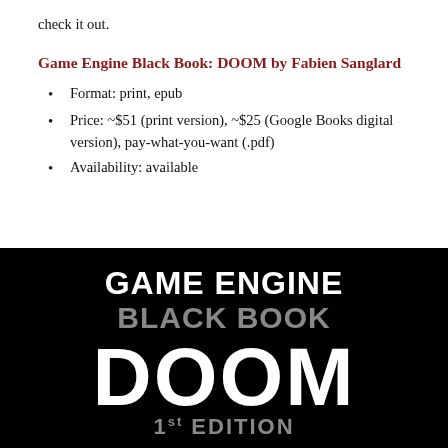check it out.
Game Engine Black Book: DOOM by Fabien Sanglard
Format: print, epub
Price: ~$51 (print version), ~$25 (Google Books digital version), pay-what-you-want (.pdf)
Availability: available
[Figure (photo): Book cover of Game Engine Black Book: DOOM. Black background with white bold text reading 'GAME ENGINE' on top, then 'BLACK BOOK' in gray, then large 'DOOM' in white, and '1st EDITION' partially visible at the bottom in gray.]